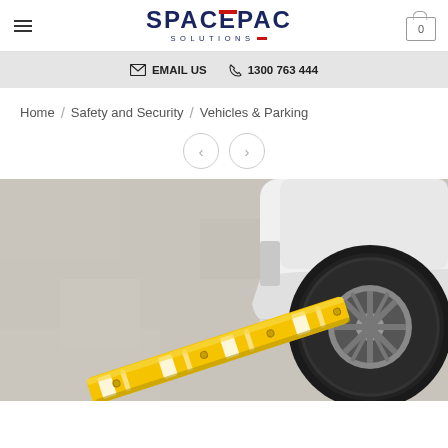SPACEPAC SOLUTIONS — Email us / 1300 763 444
Home / Safety and Security / Vehicles & Parking
[Figure (photo): Photo of a yellow parking wheel stop/car stopper on a concrete surface with a white car's wheel and bumper visible in the background.]